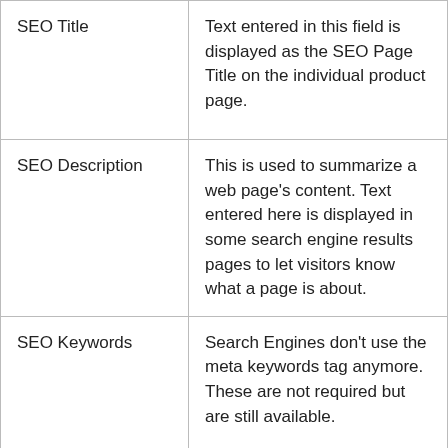| Field | Description |
| --- | --- |
| SEO Title | Text entered in this field is displayed as the SEO Page Title on the individual product page. |
| SEO Description | This is used to summarize a web page's content. Text entered here is displayed in some search engine results pages to let visitors know what a page is about. |
| SEO Keywords | Search Engines don't use the meta keywords tag anymore. These are not required but are still available. |
| SEO Friendly Page Name | This indicates the SEO-friendly URL of the product page. (E.g., http://maxwellhardware.com/impact-drill where 'impact-drill' is the SEO-friendly page name/URL). If the requirement is to |